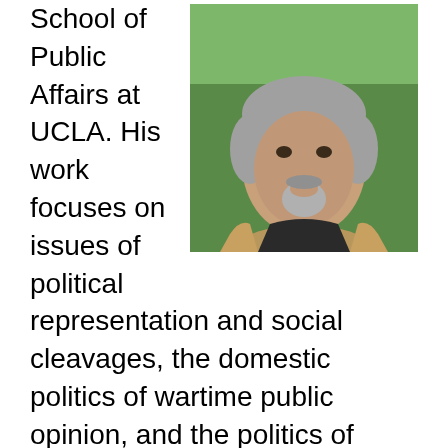[Figure (photo): Headshot of a middle-aged man with gray hair and a goatee, wearing a dark shirt and tan blazer, photographed outdoors with green foliage background.]
School of Public Affairs at UCLA. His work focuses on issues of political representation and social cleavages, the domestic politics of wartime public opinion, and the politics of America's growing Latino minority.  Among his most recent publications are Latino America: How America's Most Dynamic Population is Poised to Transform the Politics of the Nation with Matt Barreto; "The Future is Ours:" Minority Politics, Political Behavior, and the Multiracial Era of American   Politics with Shaun Bowler, and two books with the Latino National Survey team: Latinos in the New Millennium: An Almanac of Opinion, Behavior, and Policy Preferences, and Latino Lives in America: